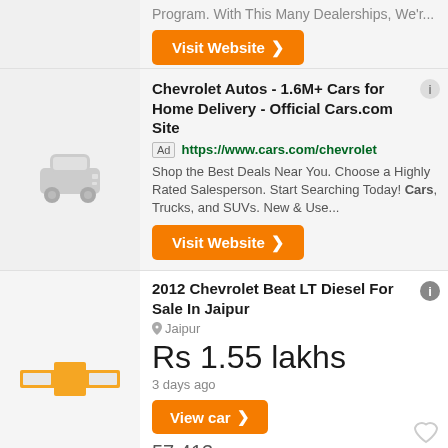Program. With This Many Dealerships, We'r...
Visit Website ❯
Chevrolet Autos - 1.6M+ Cars for Home Delivery - Official Cars.com Site
Ad https://www.cars.com/chevrolet
Shop the Best Deals Near You. Choose a Highly Rated Salesperson. Start Searching Today! Cars, Trucks, and SUVs. New & Use...
Visit Website ❯
2012 Chevrolet Beat LT Diesel For Sale In Jaipur
Jaipur
Rs 1.55 lakhs
3 days ago
View car ❯
57,413
Km
2012 Chevrolet Beat LT Diesel For Sale In Jaipur
Jaipur